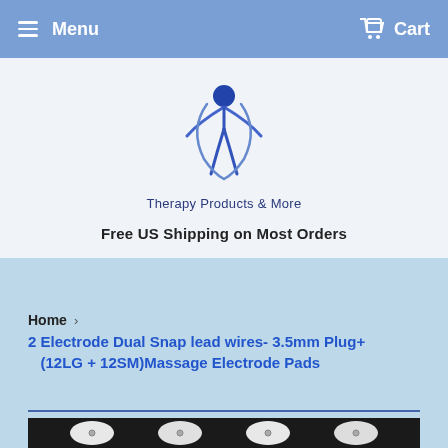Menu   Cart
[Figure (logo): Therapy Products & More logo — stylized human figure with arms raised, in blue, above the text 'Therapy Products & More']
Free US Shipping on Most Orders
Home  ›  2 Electrode Dual Snap lead wires- 3.5mm Plug+ (12LG + 12SM)Massage Electrode Pads
[Figure (photo): Close-up photo of white massage electrode pads on a dark background, showing snap connectors]